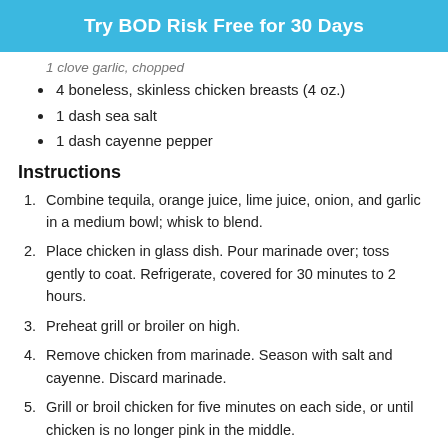Try BOD Risk Free for 30 Days
1 clove garlic, chopped
4 boneless, skinless chicken breasts (4 oz.)
1 dash sea salt
1 dash cayenne pepper
Instructions
Combine tequila, orange juice, lime juice, onion, and garlic in a medium bowl; whisk to blend.
Place chicken in glass dish. Pour marinade over; toss gently to coat. Refrigerate, covered for 30 minutes to 2 hours.
Preheat grill or broiler on high.
Remove chicken from marinade. Season with salt and cayenne. Discard marinade.
Grill or broil chicken for five minutes on each side, or until chicken is no longer pink in the middle.
Nutrition Facts